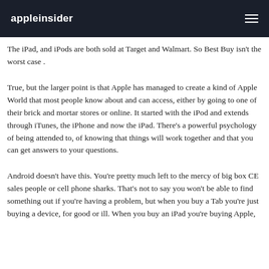appleinsider
The iPad, and iPods are both sold at Target and Walmart. So Best Buy isn't the worst case .
True, but the larger point is that Apple has managed to create a kind of Apple World that most people know about and can access, either by going to one of their brick and mortar stores or online. It started with the iPod and extends through iTunes, the iPhone and now the iPad. There's a powerful psychology of being attended to, of knowing that things will work together and that you can get answers to your questions.
Android doesn't have this. You're pretty much left to the mercy of big box CE sales people or cell phone sharks. That's not to say you won't be able to find something out if you're having a problem, but when you buy a Tab you're just buying a device, for good or ill. When you buy an iPad you're buying Apple,